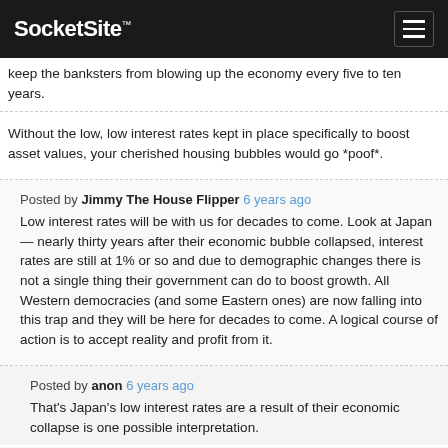SocketSite™
keep the banksters from blowing up the economy every five to ten years.
Without the low, low interest rates kept in place specifically to boost asset values, your cherished housing bubbles would go *poof*.
Posted by Jimmy The House Flipper 6 years ago
Low interest rates will be with us for decades to come. Look at Japan — nearly thirty years after their economic bubble collapsed, interest rates are still at 1% or so and due to demographic changes there is not a single thing their government can do to boost growth. All Western democracies (and some Eastern ones) are now falling into this trap and they will be here for decades to come. A logical course of action is to accept reality and profit from it.
Posted by anon 6 years ago
That's Japan's low interest rates are a result of their economic collapse is one possible interpretation.
Another analysis one would be in that their is a result...